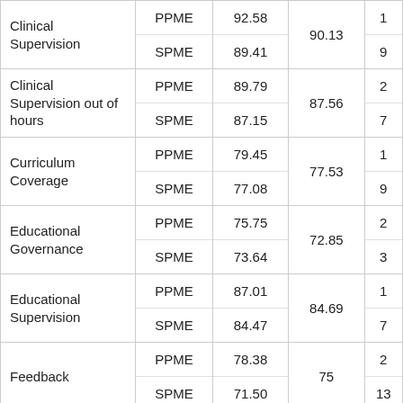|  | Type | Score | Average | Rank |
| --- | --- | --- | --- | --- |
| Clinical Supervision | PPME | 92.58 | 90.13 | 1 |
|  | SPME | 89.41 |  | 9 |
| Clinical Supervision out of hours | PPME | 89.79 | 87.56 | 2 |
|  | SPME | 87.15 |  | 7 |
| Curriculum Coverage | PPME | 79.45 | 77.53 | 1 |
|  | SPME | 77.08 |  | 9 |
| Educational Governance | PPME | 75.75 | 72.85 | 2 |
|  | SPME | 73.64 |  | 3 |
| Educational Supervision | PPME | 87.01 | 84.69 | 1 |
|  | SPME | 84.47 |  | 7 |
| Feedback | PPME | 78.38 | 75 | 2 |
|  | SPME | 71.50 |  | 13 |
| Handover | PPME | 66.33 | 65.82 | 4 |
|  | SPME | 64.78 |  | 12 |
| Induction | PPME | 81.29 | 79.15 | 2 |